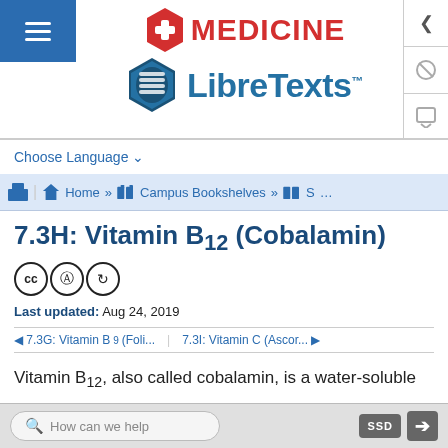[Figure (logo): Medicine LibreTexts logo with red cross hexagon and blue book hexagon]
Choose Language ▾
Home » Campus Bookshelves » S ...
7.3H: Vitamin B12 (Cobalamin)
[Figure (other): Creative Commons license icons: CC, person, share-alike]
Last updated: Aug 24, 2019
◄ 7.3G: Vitamin B9 (Foli... | 7.3I: Vitamin C (Ascor... ►
Vitamin B12, also called cobalamin, is a water-soluble
How can we help